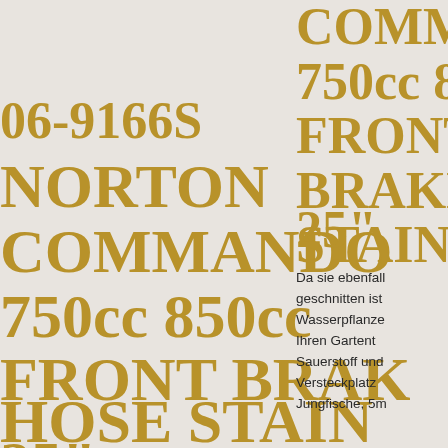06-9166S NORTON COMMANDO 750cc 850cc FRONT BRAKE HOSE STAINLESS 25"
COMMANDO 750cc 850cc FRONT BRAKE STAINLESS 25"
Da sie ebenfall geschnitten ist Wasserpflanze Ihren Gartent Sauerstoff und Versteckplatz Jungfische, 5m